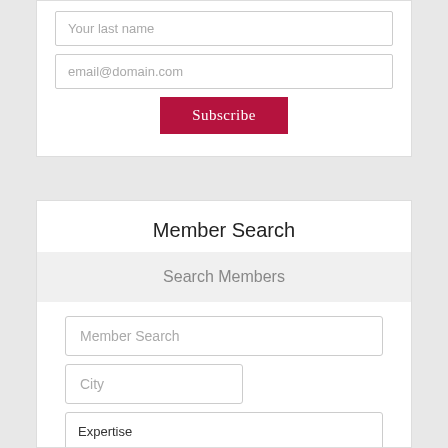Your last name
email@domain.com
Subscribe
Member Search
Search Members
Member Search
City
Expertise
Admin. Support
Agent